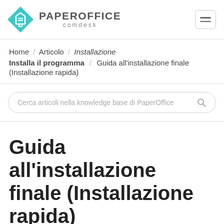PAPEROFFICE comdesk
Home / Articolo / Installazione
Installa il programma / Guida all'installazione finale (Installazione rapida)
Cerca articoli nella knowledge base di PaperOffice
Guida all'installazione finale (Installazione rapida)